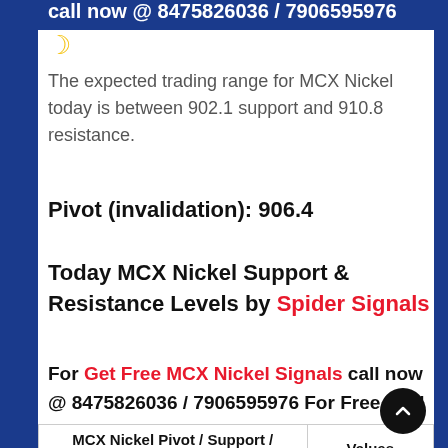call now @ 8475826036 / 7906595976
The expected trading range for MCX Nickel today is between 902.1 support and 910.8 resistance.
Pivot (invalidation): 906.4
Today MCX Nickel Support & Resistance Levels by Spider Signals
For Get Free MCX Nickel Signals call now @ 8475826036 / 7906595976 For Free Trial
| MCX Nickel Pivot / Support / Resistance | Values |
| --- | --- |